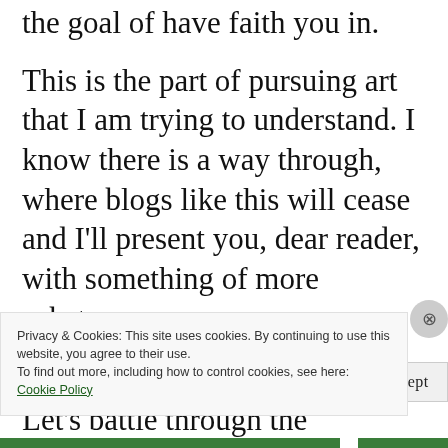the goal of have faith you in.
This is the part of pursuing art that I am trying to understand. I know there is a way through, where blogs like this will cease and I'll present you, dear reader, with something of more substance.
Until then, let's not give up. Let's battle through the mediocrity to something great in our work, in our routines, and in our
Privacy & Cookies: This site uses cookies. By continuing to use this website, you agree to their use.
To find out more, including how to control cookies, see here:
Cookie Policy
Close and accept